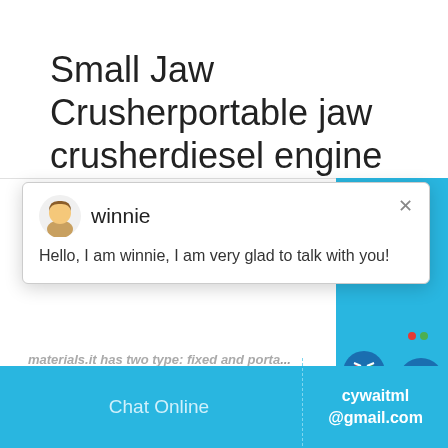Small Jaw Crusherportable jaw crusherdiesel engine
[Figure (screenshot): Chat popup with avatar of winnie, name 'winnie', close button X, and message: Hello, I am winnie, I am very glad to talk with you!]
materials.it has two type: fixed and portable motor or diesel engine.
[Figure (screenshot): Get Quote blue button on left; right sidebar with teal background, smiley face icon, badge with number 1, Click me to chat >> bubble, Enquiry label, and email cywaitml@gmail.com]
Chat Online    cywaitml@gmail.com